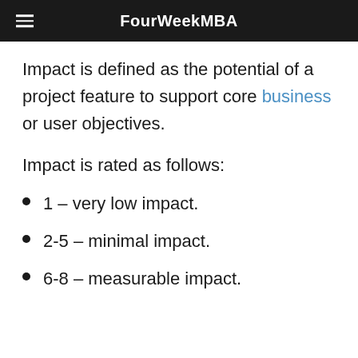FourWeekMBA
Impact is defined as the potential of a project feature to support core business or user objectives.
Impact is rated as follows:
1 – very low impact.
2-5 – minimal impact.
6-8 – measurable impact.